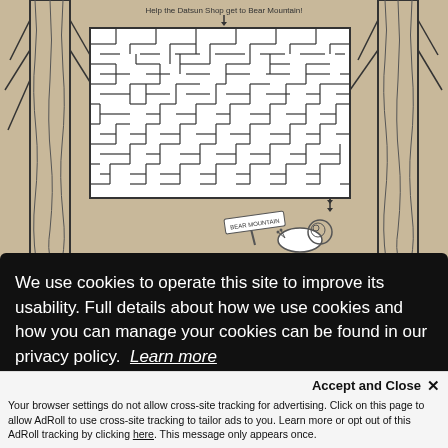[Figure (illustration): A black and white coloring page illustration of a maze. The maze is set in a forest scene with tall trees on either side. Text above the maze reads 'Help the Datsun Shop get to Bear Mountain!' with arrows indicating entry and exit. At the bottom of the scene there is a snail and a sign post reading 'BEAR MOUNTAIN'.]
We use cookies to operate this site to improve its usability. Full details about how we use cookies and how you can manage your cookies can be found in our privacy policy.  Learn more
Accept and Close ✕
Your browser settings do not allow cross-site tracking for advertising. Click on this page to allow AdRoll to use cross-site tracking to tailor ads to you. Learn more or opt out of this AdRoll tracking by clicking here. This message only appears once.